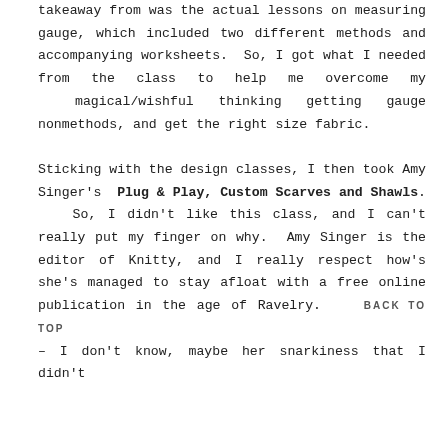takeaway from was the actual lessons on measuring gauge, which included two different methods and accompanying worksheets. So, I got what I needed from the class to help me overcome my magical/wishful thinking getting gauge nonmethods, and get the right size fabric.

Sticking with the design classes, I then took Amy Singer's Plug & Play, Custom Scarves and Shawls. So, I didn't like this class, and I can't really put my finger on why. Amy Singer is the editor of Knitty, and I really respect how's she's managed to stay afloat with a free online publication in the age of Ravelry. BACK TO TOP – I don't know, maybe her snarkiness that I didn't